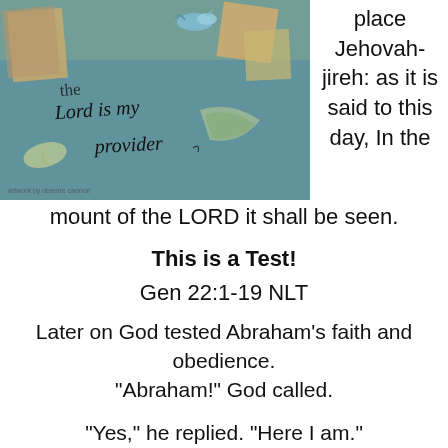[Figure (illustration): Watercolor/mixed media artwork with text 'the Lord is my provider' in handwritten script, with decorative elements and credit text at bottom left reading 'artwork by deanne cannon']
place Jehovah-jireh: as it is said to this day, In the mount of the LORD it shall be seen.
This is a Test!
Gen 22:1-19 NLT
Later on God tested Abraham's faith and obedience. “Abraham!” God called.
“Yes,” he replied. “Here I am.”
2 “Take your son, your only son — yes, Isaac, whom you